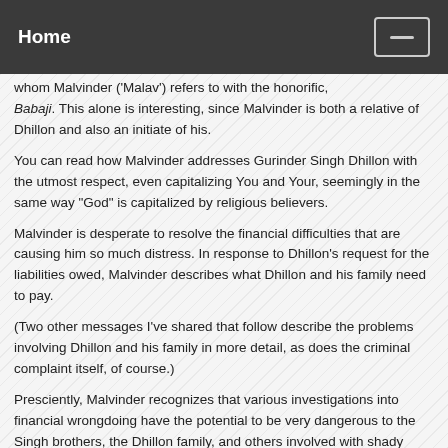Home
whom Malvinder ('Malav') refers to with the honorific, Babaji. This alone is interesting, since Malvinder is both a relative of Dhillon and also an initiate of his.
You can read how Malvinder addresses Gurinder Singh Dhillon with the utmost respect, even capitalizing You and Your, seemingly in the same way "God" is capitalized by religious believers.
Malvinder is desperate to resolve the financial difficulties that are causing him so much distress. In response to Dhillon's request for the liabilities owed, Malvinder describes what Dhillon and his family need to pay.
(Two other messages I've shared that follow describe the problems involving Dhillon and his family in more detail, as does the criminal complaint itself, of course.)
Presciently, Malvinder recognizes that various investigations into financial wrongdoing have the potential to be very dangerous to the Singh brothers, the Dhillon family, and others involved with shady loans.